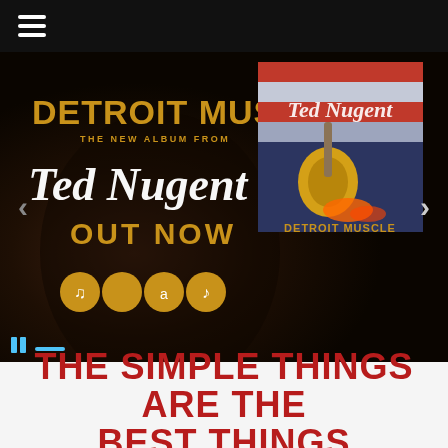[Figure (screenshot): Navigation bar with hamburger menu icon (three horizontal white lines) on black background]
[Figure (photo): Ted Nugent Detroit Muscle album promotional banner. Left side shows text: DETROIT MUSCLE, THE NEW ALBUM FROM, Ted Nugent (in script), OUT NOW, with streaming service icons (Spotify, Apple Music, Amazon, iTunes) in gold circles. Right side shows the Detroit Muscle album cover art with an illustrated guitar and Detroit imagery on American flag background. Dark rocky background texture. Left and right navigation arrows visible.]
THE SIMPLE THINGS ARE THE BEST THINGS